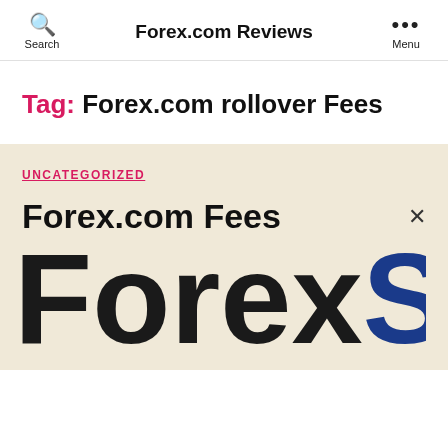Search | Forex.com Reviews | Menu
Tag: Forex.com rollover Fees
UNCATEGORIZED
Forex.com Fees
[Figure (logo): Large bold text logo showing 'ForexS' cropped, with 'Forex' in near-black and 'S' in dark blue, displayed as an oversized banner logo]